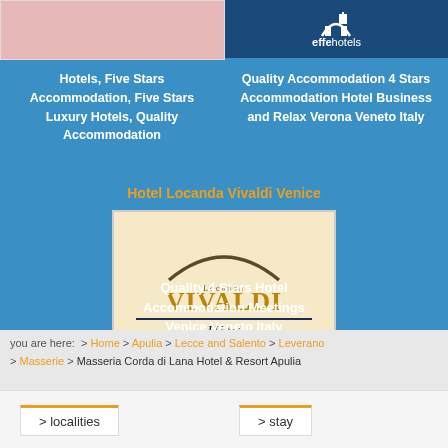[Figure (logo): Pink/light red rectangle image placeholder on left]
[Figure (logo): effe hotels logo on dark blue background with arch/building icon]
Hotels, Five Stars Accommodation, Five Stars Luxury Hotels, Quality Accommodation
Quality Accommodation 4 Stars Accommodation Hotel Business and Relax Verona Veneto Italy
Hotel Locanda Vivaldi Venice
[Figure (logo): Locanda Vivaldi Hotel logo - cream background with arch, gold VIVALDI text, Hotel text with underline, four stars]
Quality 4 Stars Hotel Accommodation Meetings Venice Veneto Italy
you are here:  >  Home  >  Apulia  >  Lecce and Salento  >  Leverano  >  Masserie  >  Masseria Corda di Lana Hotel & Resort Apulia
> localities
> stay